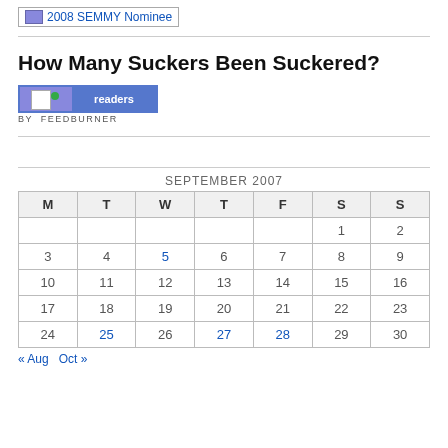[Figure (logo): 2008 SEMMY Nominee badge image placeholder]
How Many Suckers Been Suckered?
[Figure (other): FeedBurner readers widget showing subscriber count]
| M | T | W | T | F | S | S |
| --- | --- | --- | --- | --- | --- | --- |
|  |  |  |  | 1 | 2 |  |
| 3 | 4 | 5 | 6 | 7 | 8 | 9 |
| 10 | 11 | 12 | 13 | 14 | 15 | 16 |
| 17 | 18 | 19 | 20 | 21 | 22 | 23 |
| 24 | 25 | 26 | 27 | 28 | 29 | 30 |
« Aug   Oct »